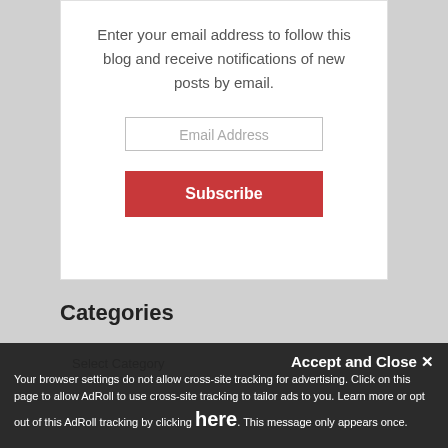Enter your email address to follow this blog and receive notifications of new posts by email.
Email Address
Subscribe
Categories
Select Category
Accept and Close ✕
Your browser settings do not allow cross-site tracking for advertising. Click on this page to allow AdRoll to use cross-site tracking to tailor ads to you. Learn more or opt out of this AdRoll tracking by clicking here. This message only appears once.